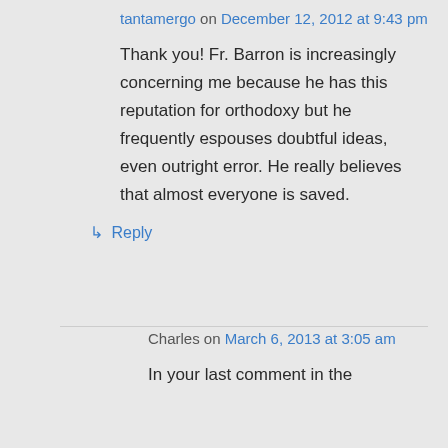tantamergo on December 12, 2012 at 9:43 pm
Thank you! Fr. Barron is increasingly concerning me because he has this reputation for orthodoxy but he frequently espouses doubtful ideas, even outright error. He really believes that almost everyone is saved.
↳ Reply
Charles on March 6, 2013 at 3:05 am
In your last comment in the